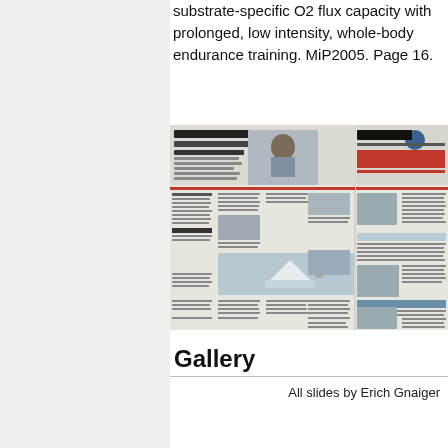substrate-specific O2 flux capacity with prolonged, low intensity, whole-body endurance training. MiP2005. Page 16.
[Figure (photo): Photograph of a German-language newspaper spread showing articles titled 'Abenteuer und Wissenschaft in Grönland' and 'I-MED IN... Wir bauen Neues...' with photos of Arctic landscapes and people]
Gallery
All slides by Erich Gnaiger